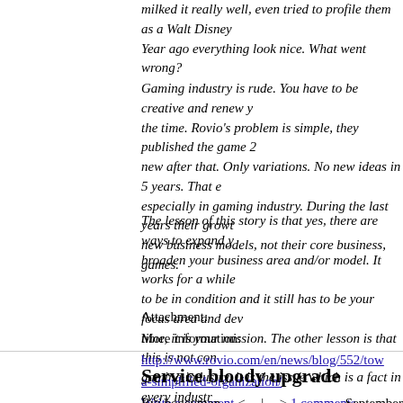milked it really well, even tried to profile them as a Walt Disney Year ago everything look nice. What went wrong?
Gaming industry is rude. You have to be creative and renew y the time. Rovio's problem is simple, they published the game 2 new after that. Only variations. No new ideas in 5 years. That especially in gaming industry. During the last years their growt new business models, not their core business, games.
The lesson of this story is that yes, there are ways to expand y broaden your business area and/or model. It works for a while to be in condition and it still has to be your focus area and dev time, it is your mission. The other lesson is that this is not con gaming industry, it is the issue which is a fact in every industr
Attachment:
More information: http://www.rovio.com/en/news/blog/552/tow a-simplified-organization/
Write a comment < -- | -- > 1 comments
Service bloody upgrade
By: bogeyman    September
Web-hotel (INT2000) where these pages are, showed what is